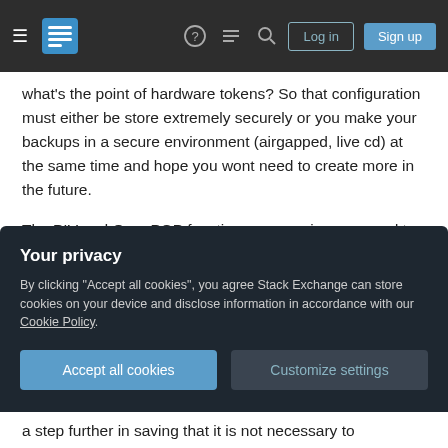Stack Exchange navigation bar with hamburger menu, logo, help, chat, search icons, Log in and Sign up buttons
what's the point of hardware tokens? So that configuration must either be store extremely securely or you make your backups in a secure environment (airgapped, live cd) at the same time and hope you wont need to create more in the future.
The PIV and OpenPGP functions are, again, supposed to be unique. Best practice should be that, especially for signing keys, you generate and attest them on the device itself and they are
Your privacy
By clicking "Accept all cookies", you agree Stack Exchange can store cookies on your device and disclose information in accordance with our Cookie Policy.
Accept all cookies    Customize settings
a step further in saying that it is not necessary to